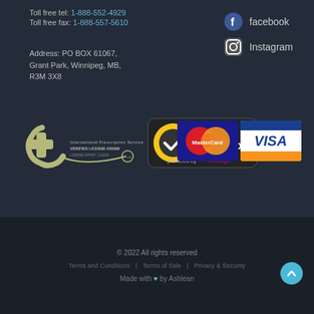Toll free tel: 1-888-552-4929
Toll free fax: 1-888-557-5610
Address: PO BOX 61067, Grant Park, Winnipeg, MB, R3M 3X8
facebook
Instagram
[Figure (logo): International Pharmacy Services Verified License badge with medical cross symbol]
[Figure (logo): Norton Secured powered by VeriSign badge]
[Figure (logo): MasterCard and Visa payment logos]
© 2022 All rights reserved
Terms and Conditions | Terms of Sale | Privacy & Security
Made with ♥ by Ashlean